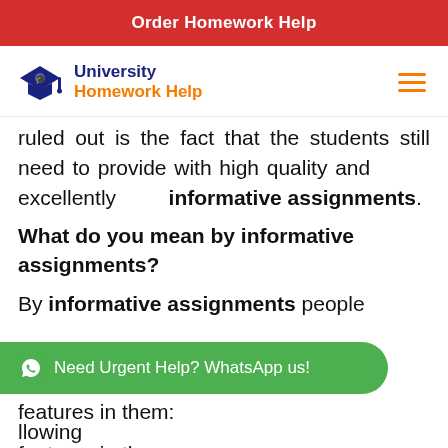Order Homework Help
[Figure (logo): University Homework Help logo with graduation cap icon, 'University' in dark blue bold and 'Homework Help' in orange bold, hamburger menu icon on right]
ruled out is the fact that the students still need to provide with high quality and excellently informative assignments.
What do you mean by informative assignments?
By informative assignments people [showing] features in them: